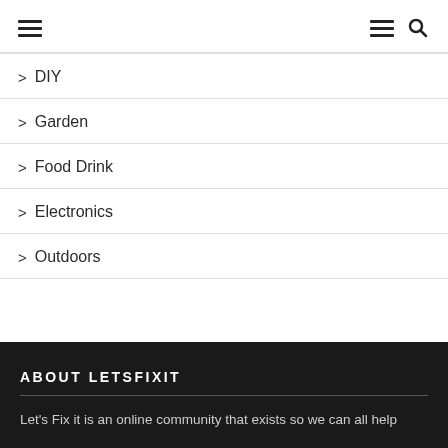Navigation header with hamburger menu and search icons
> DIY
> Garden
> Food Drink
> Electronics
> Outdoors
ABOUT LETSFIXIT
Let's Fix it is an online community that exists so we can all help